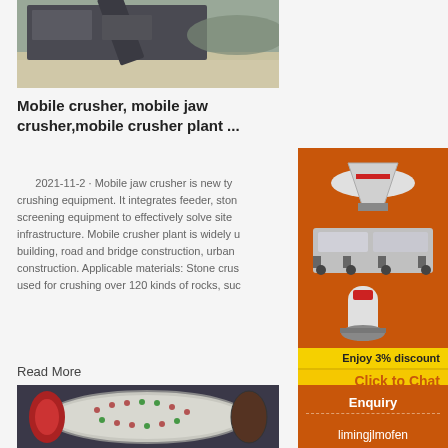[Figure (photo): Outdoor quarry/mining crushing plant with heavy machinery and gravel ground]
Mobile crusher, mobile jaw crusher,mobile crusher plant ...
2021-11-2 · Mobile jaw crusher is new type crushing equipment. It integrates feeder, stone screening equipment to effectively solve site infrastructure. Mobile crusher plant is widely used building, road and bridge construction, urban construction. Applicable materials: Stone crusher used for crushing over 120 kinds of rocks, such...
Read More
[Figure (photo): Close-up of a large industrial ball mill drum with perforated shell and red end caps]
[Figure (photo): Advertisement sidebar showing three crushing/grinding machines on orange background with discount and chat offer, enquiry section and email contact]
Enjoy 3% discount
Click to Chat
Enquiry
limingjlmofen@sina.com